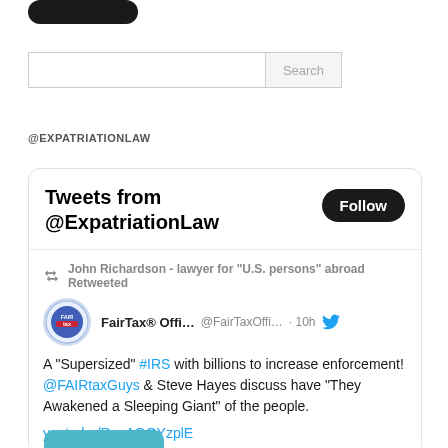[Figure (screenshot): Partially visible dark rounded button at top]
[Figure (screenshot): Search input box with Search button]
@EXPATRIATIONLAW
[Figure (screenshot): Twitter widget showing Tweets from @ExpatriationLaw with Follow button and a retweeted post from FairTax® Offi... @FairTaxOffi... 10h: A 'Supersized' #IRS with billions to increase enforcement! @FAIRtaxGuys & Steve Hayes discuss have 'They Awakened a Sleeping Giant' of the people. youtu.be/RcuAGOYzplE]